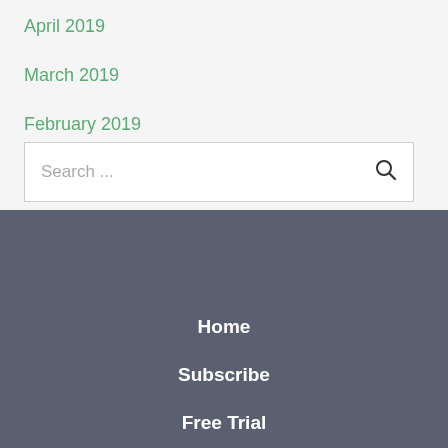April 2019
March 2019
February 2019
Search ...
Home
Subscribe
Free Trial